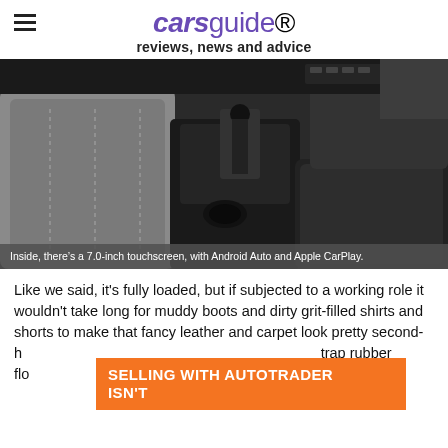carsguide reviews, news and advice
[Figure (photo): Interior photo of car showing front seats, center console with gear shift, cup holder, and armrest. Dark upholstery with grey seat fabric visible.]
Inside, there's a 7.0-inch touchscreen, with Android Auto and Apple CarPlay.
Like we said, it's fully loaded, but if subjected to a working role it wouldn't take long for muddy boots and dirty grit-filled shirts and shorts to make that fancy leather and carpet look pretty second-h... trap rubber flo... preserve